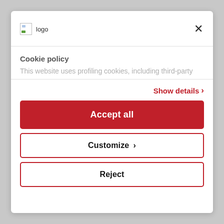[Figure (logo): Logo image placeholder with text 'logo']
×
Cookie policy
This website uses profiling cookies, including third-party
Show details ›
Accept all
Customize ›
Reject